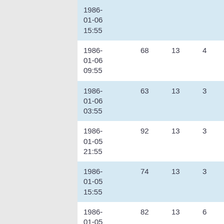| date | col1 | col2 | col3 | col4 |
| --- | --- | --- | --- | --- |
| 1986-01-06 15:55 |  |  |  |  |
| 1986-01-06 09:55 | 68 | 13 | 4 | 8 |
| 1986-01-06 03:55 | 63 | 13 | 3 | 6 |
| 1986-01-05 21:55 | 92 | 13 | 3 | 4 |
| 1986-01-05 15:55 | 74 | 13 | 3 | 2 |
| 1986-01-05 09:55 | 82 | 13 | 6 | 6 |